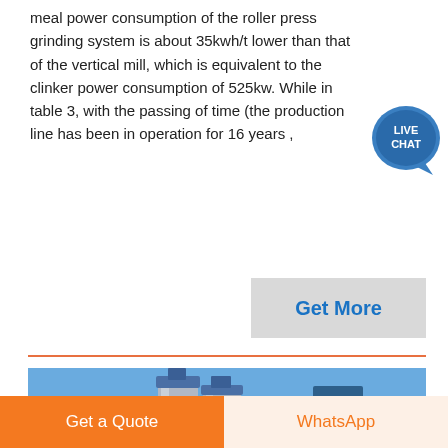From the perspective of the design intention, the annual meal power consumption of the roller press grinding system is about 35kwh/t lower than that of the vertical mill, which is equivalent to the clinker power consumption of 525kw. While in table 3, with the passing of time (the production line has been in operation for 16 years ,
[Figure (other): Live chat bubble icon — teal circle with speech bubble, labeled LIVE CHAT]
[Figure (other): Get More button — gray rectangle with blue bold text 'Get More']
[Figure (photo): Industrial facility photo showing tall metal silos/towers and piping against a clear blue sky — roller press or grinding plant]
[Figure (other): Bottom bar with two buttons: 'Get a Quote' (orange) and 'WhatsApp' (light orange/cream background with orange text)]